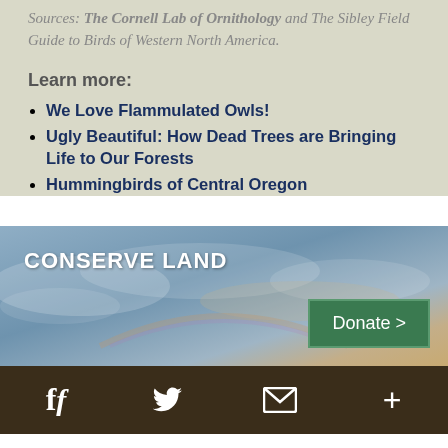Sources: The Cornell Lab of Ornithology and The Sibley Field Guide to Birds of Western North America.
Learn more:
We Love Flammulated Owls!
Ugly Beautiful: How Dead Trees are Bringing Life to Our Forests
Hummingbirds of Central Oregon
[Figure (photo): Scenic landscape photo with sky and clouds used as background for the CONSERVE LAND section with a Donate button]
f  [Twitter]  [Email]  +